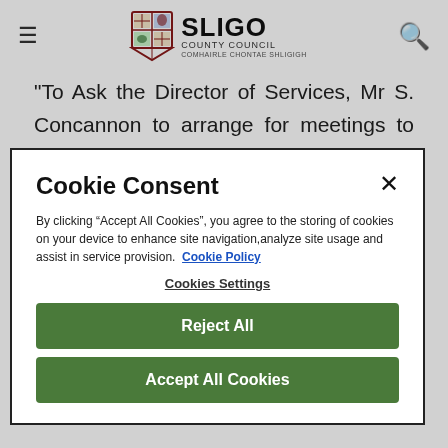Sligo County Council
"To Ask the Director of Services, Mr S. Concannon to arrange for meetings to take place in each Election Area so the road work scheme for 2007 be
Cookie Consent
By clicking “Accept All Cookies”, you agree to the storing of cookies on your device to enhance site navigation,analyze site usage and assist in service provision. Cookie Policy
Cookies Settings
Reject All
Accept All Cookies